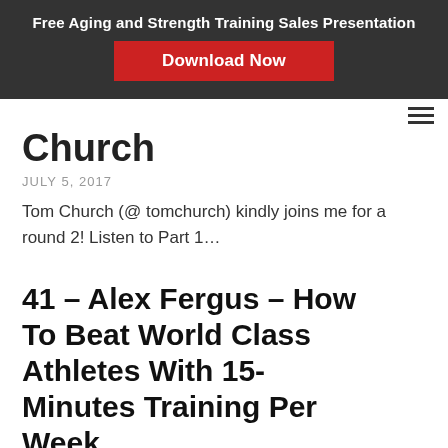Free Aging and Strength Training Sales Presentation
Download Now
Church
JULY 5, 2017
Tom Church (@ tomchurch) kindly joins me for a round 2! Listen to Part 1...
41 – Alex Fergus – How To Beat World Class Athletes With 15-Minutes Training Per Week
JANUARY 5, 2017
Alex Fergus is a personal trainer who coaches some of